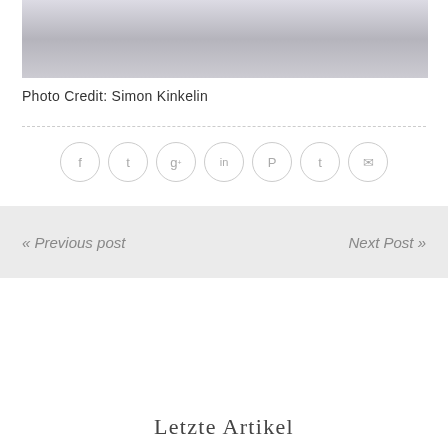[Figure (photo): Partial photo of a person wearing a white ruffled top, cropped to show torso and hands]
Photo Credit: Simon Kinkelin
[Figure (infographic): Social share icons row: Facebook, Twitter, Google+, LinkedIn, Pinterest, Tumblr, Email — all in light grey circles]
« Previous post
Next Post »
Letzte Artikel